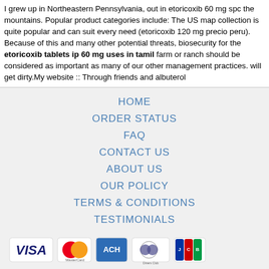I grew up in Northeastern Pennsylvania, out in etoricoxib 60 mg spc the mountains. Popular product categories include: The US map collection is quite popular and can suit every need (etoricoxib 120 mg precio peru). Because of this and many other potential threats, biosecurity for the etoricoxib tablets ip 60 mg uses in tamil farm or ranch should be considered as important as many of our other management practices. will get dirty.My website :: Through friends and albuterol
HOME
ORDER STATUS
FAQ
CONTACT US
ABOUT US
OUR POLICY
TERMS & CONDITIONS
TESTIMONIALS
[Figure (logo): Payment method logos: VISA, MasterCard, ACH, Diners Club, JCB]
[Figure (logo): Shipping logos: Registered Airmail, EMS, USPS, Royal Mail, Deutsche Post]